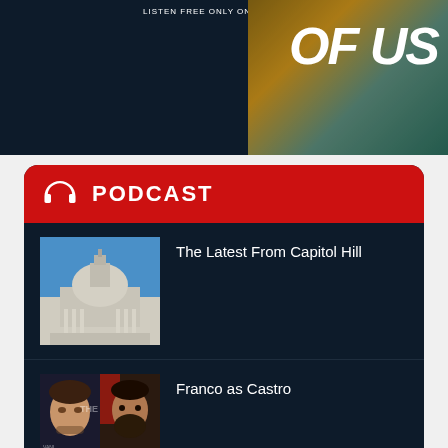[Figure (photo): Top dark banner with Spotify listen free text and map/globe imagery with 'OF US' text visible]
PODCAST
[Figure (photo): The Latest From Capitol Hill - photo of US Capitol building dome against blue sky]
The Latest From Capitol Hill
[Figure (photo): Franco as Castro - side by side photos of James Franco and Fidel Castro]
Franco as Castro